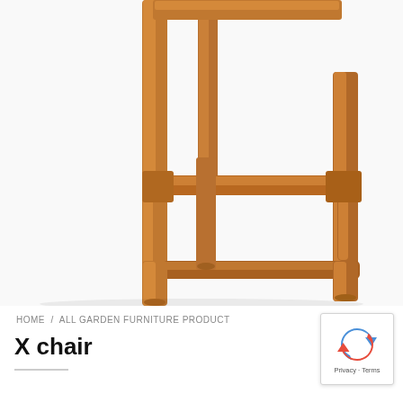[Figure (photo): Close-up photo of lower legs and stretchers of a wooden bar stool or high chair, showing warm honey-brown teak wood with cross-bar supports, on a white background.]
HOME / ALL GARDEN FURNITURE PRODUCT
X chair